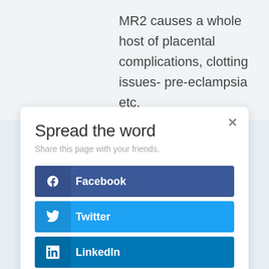MR2 causes a whole host of placental complications, clotting issues- pre-eclampsia etc.
Spread the word
Share this page with your friends.
Facebook
Twitter
LinkedIn